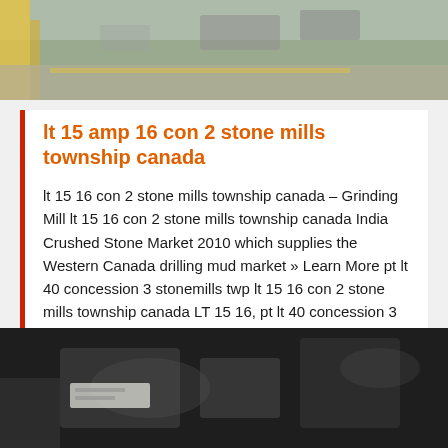[Figure (photo): Outdoor scene with vehicles and yellow equipment visible, blurred background]
lt 15 amp 16 con 2 stone mills township canada
lt 15 16 con 2 stone mills township canada – Grinding Mill lt 15 16 con 2 stone mills township canada India Crushed Stone Market 2010 which supplies the Western Canada drilling mud market » Learn More pt lt 40 concession 3 stonemills twp lt 15 16 con 2 stone mills township canada LT 15 16, pt lt 40 concession 3 stonemills twp Stone Mills Township, ,
[Figure (other): Blue sales online button]
[Figure (photo): Dark indoor industrial scene with machinery visible]